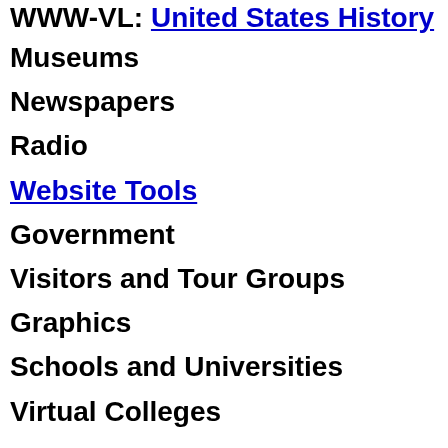WWW-VL: United States History
Museums
Newspapers
Radio
Website Tools
Government
Visitors and Tour Groups
Graphics
Schools and Universities
Virtual Colleges